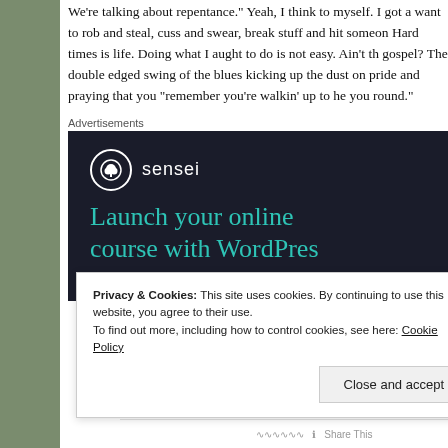We're talking about repentance." Yeah, I think to myself. I got a want to rob and steal, cuss and swear, break stuff and hit someone. Hard times is life. Doing what I aught to do is not easy. Ain't that gospel? The double edged swing of the blues kicking up the dust on pride and praying that you "remember you're walkin' up to he you round."
Advertisements
[Figure (other): Advertisement banner for Sensei with dark background showing tree logo icon, 'sensei' text logo, and headline 'Launch your online course with WordPress']
Privacy & Cookies: This site uses cookies. By continuing to use this website, you agree to their use.
To find out more, including how to control cookies, see here: Cookie Policy
Close and accept